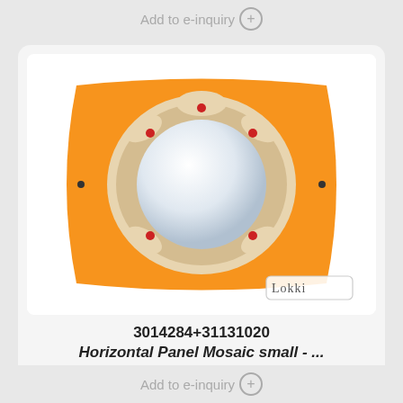Add to e-inquiry +
[Figure (photo): Product photo of Horizontal Panel Mosaic small on orange background with circular mirror/ring component, Lokki brand logo in bottom right corner]
3014284+31131020
Horizontal Panel Mosaic small - ...
Usual delivery time 4-6 weeks
Add to e-inquiry +